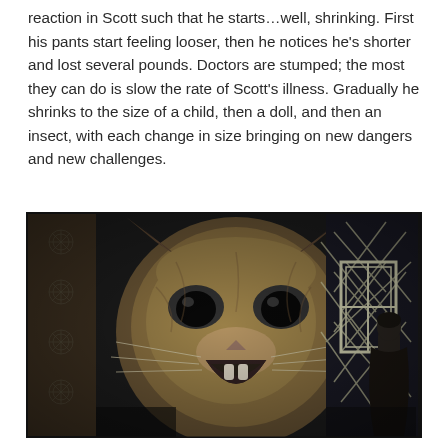reaction in Scott such that he starts…well, shrinking. First his pants start feeling looser, then he notices he's shorter and lost several pounds. Doctors are stumped; the most they can do is slow the rate of Scott's illness. Gradually he shrinks to the size of a child, then a doll, and then an insect, with each change in size bringing on new dangers and new challenges.
[Figure (photo): Black and white film still showing a tiny human figure facing an enormous close-up of a cat's face with its mouth open, set against a patterned wallpaper background with decorative floral/snowflake motifs on the left side and diagonal lines on the right.]